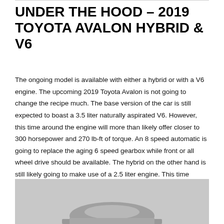UNDER THE HOOD – 2019 TOYOTA AVALON HYBRID & V6
The ongoing model is available with either a hybrid or with a V6 engine. The upcoming 2019 Toyota Avalon is not going to change the recipe much. The base version of the car is still expected to boast a 3.5 liter naturally aspirated V6. However, this time around the engine will more than likely offer closer to 300 horsepower and 270 lb-ft of torque. An 8 speed automatic is going to replace the aging 6 speed gearbox while front or all wheel drive should be available. The hybrid on the other hand is still likely going to make use of a 2.5 liter engine. This time around though, thanks to improvements made to its electric powertrain, the hybrid should get more than 45 MPG on average. This would allow the Avalon to become the most fuel efficient full size sedan on the US market.
[Figure (photo): Partial view of a Toyota Avalon car, showing the top and partial body of the vehicle against a light gray background.]